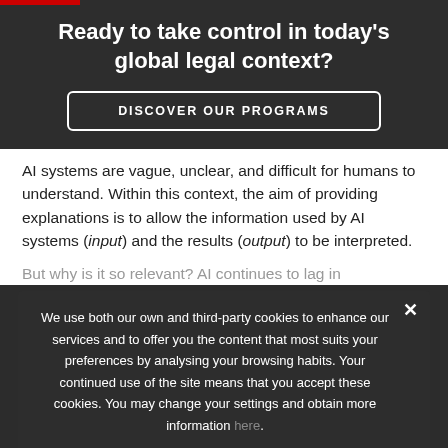Ready to take control in today's global legal context?
DISCOVER OUR PROGRAMS
AI systems are vague, unclear, and difficult for humans to understand. Within this context, the aim of providing explanations is to allow the information used by AI systems (input) and the results (output) to be interpreted.
But why is it so relevant? AI continues to lag in common sense reasoning(1), which has ultimately raised some concerns about the inner workings of AI. Explainability should be called upon in particular accidents and it is a discriminating factor in finding a universal framework for AI.
We use both our own and third-party cookies to enhance our services and to offer you the content that most suits your preferences by analysing your browsing habits. Your continued use of the site means that you accept these cookies. You may change your settings and obtain more information here.
AI, a new decision-making actor, has